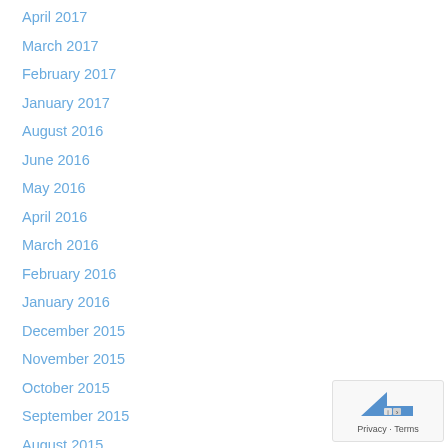April 2017
March 2017
February 2017
January 2017
August 2016
June 2016
May 2016
April 2016
March 2016
February 2016
January 2016
December 2015
November 2015
October 2015
September 2015
August 2015
July 2015
[Figure (logo): Google Maps privacy badge with arrow icon]